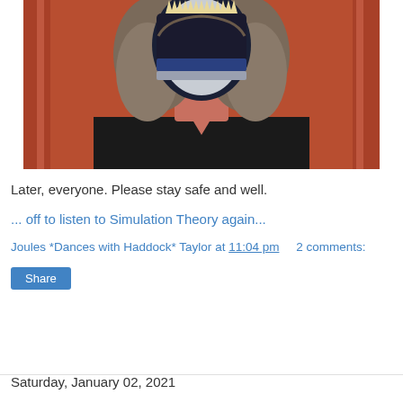[Figure (photo): Person wearing a black v-neck shirt with dramatic face paint or mask showing white and black with large jagged teeth pattern and dark hair, standing in front of a reddish-orange curtain background, photo cropped to show neck and lower face/mask area.]
Later, everyone. Please stay safe and well.
... off to listen to Simulation Theory again...
Joules *Dances with Haddock* Taylor at 11:04 pm   2 comments:
Share
Saturday, January 02, 2021